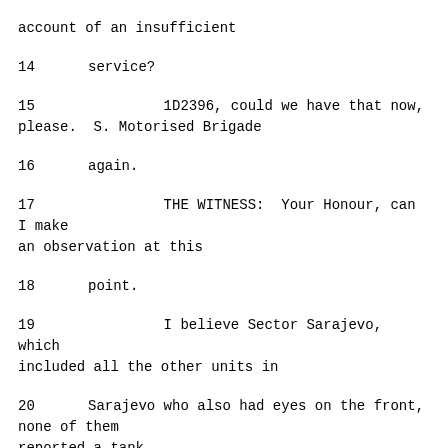account of an insufficient
14      service?
15              1D2396, could we have that now, please.  S. Motorised Brigade
16      again.
17              THE WITNESS:  Your Honour, can I make an observation at this
18      point.
19              I believe Sector Sarajevo, which included all the other units in
20      Sarajevo who also had eyes on the front, none of them reported a tank